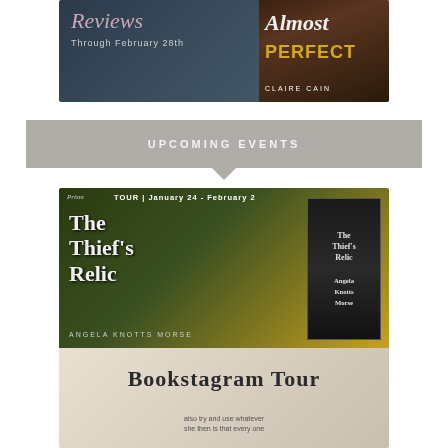[Figure (illustration): Book tour banner image for 'Almost Perfect' by Claire Cain showing cursive 'Reviews Through February 28th' text on dark background with book cover on right side]
UPCOMING EVENTS
[Figure (illustration): Book tour promotion image for 'The Thief's Relic' by Angela Knotts Morse. Top half shows tour dates January 24 - February 2 on dark green background with large gothic title text and 3D book cover. Bottom half shows Bookstagram Tour text on weathered light background.]